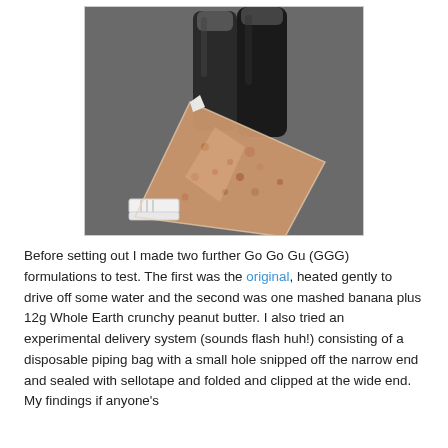[Figure (photo): Photo showing two dark squeeze bottles standing upright in the background and a white disposable piping bag filled with a tan/beige chunky mixture (peanut butter and banana) lying in the foreground on a grey surface. The bag is sealed with a clip at the wide end.]
Before setting out I made two further Go Go Gu (GGG) formulations to test. The first was the original, heated gently to drive off some water and the second was one mashed banana plus 12g Whole Earth crunchy peanut butter. I also tried an experimental delivery system (sounds flash huh!) consisting of a disposable piping bag with a small hole snipped off the narrow end and sealed with sellotape and folded and clipped at the wide end. My findings if anyone's